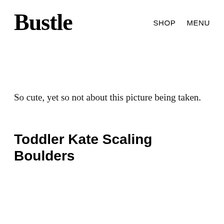Bustle   SHOP   MENU
So cute, yet so not about this picture being taken.
Toddler Kate Scaling Boulders